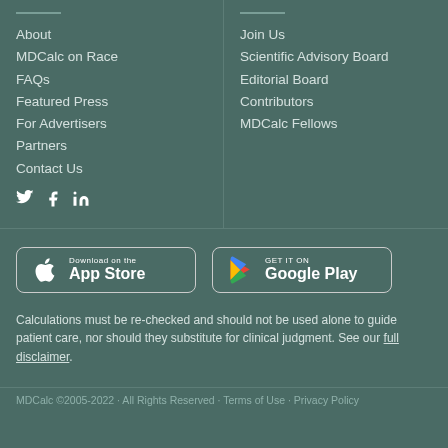About
MDCalc on Race
FAQs
Featured Press
For Advertisers
Partners
Contact Us
Join Us
Scientific Advisory Board
Editorial Board
Contributors
MDCalc Fellows
[Figure (logo): Download on the App Store button]
[Figure (logo): Get it on Google Play button]
Calculations must be re-checked and should not be used alone to guide patient care, nor should they substitute for clinical judgment. See our full disclaimer.
MDCalc ©2005-2022 · All Rights Reserved · Terms of Use · Privacy Policy